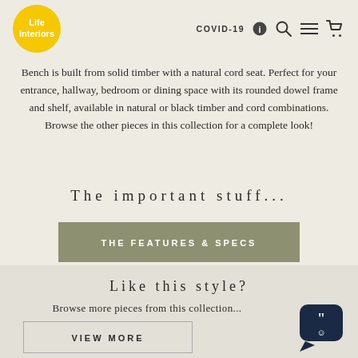[Figure (logo): Life Interiors logo — yellow circle with white text 'Life interiors']
COVID-19 ℹ
Bench is built from solid timber with a natural cord seat. Perfect for your entrance, hallway, bedroom or dining space with its rounded dowel frame and shelf, available in natural or black timber and cord combinations. Browse the other pieces in this collection for a complete look!
The important stuff...
THE FEATURES & SPECS
Like this style?
Browse more pieces from this collection...
VIEW MORE
[Figure (illustration): Chat widget icon — dark navy speech bubble with quotation marks and smiley face]